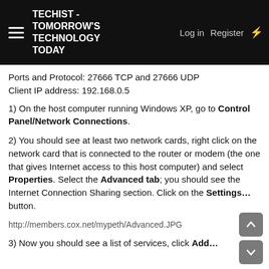TECHIST - TOMORROW'S TECHNOLOGY TODAY | Log in | Register
Ports and Protocol: 27666 TCP and 27666 UDP
Client IP address: 192.168.0.5
1) On the host computer running Windows XP, go to Control Panel/Network Connections.
2) You should see at least two network cards, right click on the network card that is connected to the router or modem (the one that gives Internet access to this host computer) and select Properties. Select the Advanced tab; you should see the Internet Connection Sharing section. Click on the Settings… button.
http://members.cox.net/mypeth/Advanced.JPG
3) Now you should see a list of services, click Add…